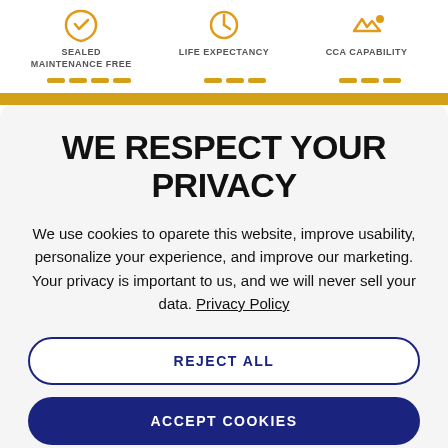[Figure (infographic): Three icons with labels: SEALED MAINTENANCE FREE, LIFE EXPECTANCY, CCA CAPABILITY, with orange dash separators below]
WE RESPECT YOUR PRIVACY
We use cookies to oparete this website, improve usability, personalize your experience, and improve our marketing. Your privacy is important to us, and we will never sell your data. Privacy Policy
REJECT ALL
ACCEPT COOKIES